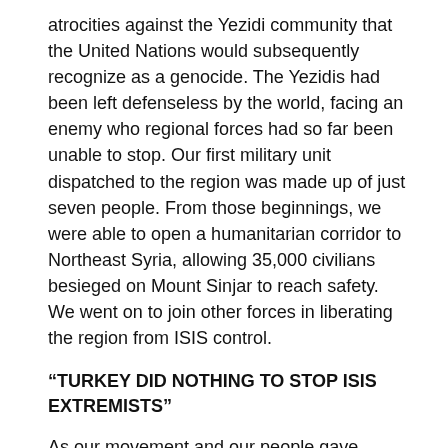atrocities against the Yezidi community that the United Nations would subsequently recognize as a genocide. The Yezidis had been left defenseless by the world, facing an enemy who regional forces had so far been unable to stop. Our first military unit dispatched to the region was made up of just seven people. From those beginnings, we were able to open a humanitarian corridor to Northeast Syria, allowing 35,000 civilians besieged on Mount Sinjar to reach safety. We went on to join other forces in liberating the region from ISIS control.
“TURKEY DID NOTHING TO STOP ISIS EXTREMISTS”
As our movement and our people gave thousands of lives in this fight, the Turkish state that calls us ‘terrorists’ did nothing to stop the ISIS extremists that were terrorizing innocent civilians across the